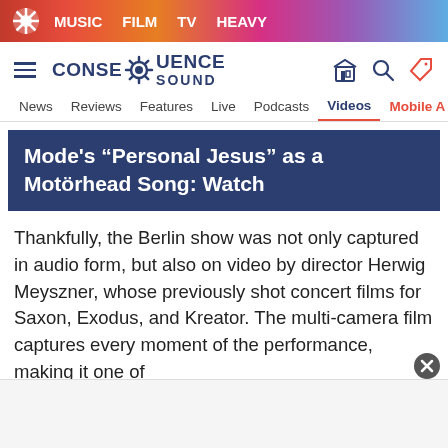MUSIC   FILM   TV   HEAVY
[Figure (logo): Consequence Sound logo with gear icon, navigation icons for store, search, and tag]
News   Reviews   Features   Live   Podcasts   Videos   Mobile A
Mode’s “Personal Jesus” as a Motörhead Song: Watch
Thankfully, the Berlin show was not only captured in audio form, but also on video by director Herwig Meyszner, whose previously shot concert films for Saxon, Exodus, and Kreator. The multi-camera film captures every moment of the performance, making it one of